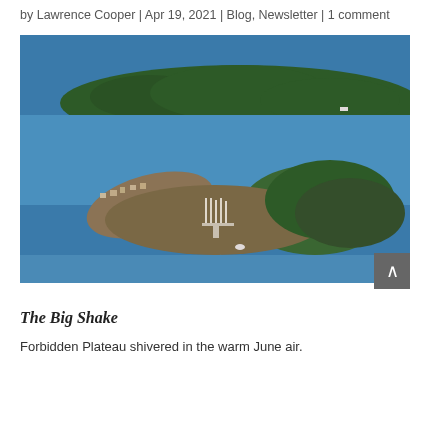by Lawrence Cooper | Apr 19, 2021 | Blog, Newsletter | 1 comment
[Figure (photo): Aerial photograph of a coastal island with a marina and forested land surrounded by blue water, with another forested island visible in the background.]
The Big Shake
Forbidden Plateau shivered in the warm June air.